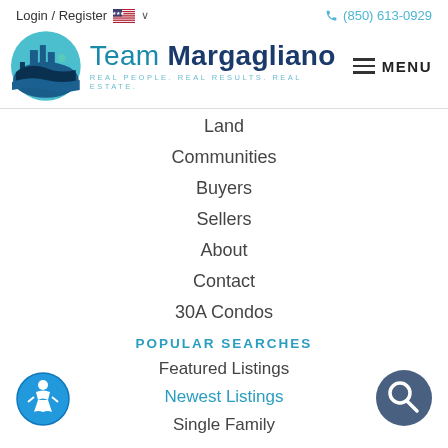Login / Register   (850) 613-0929
[Figure (logo): Team Margagliano real estate logo with circular teal graphic showing buildings and palm trees, with text 'Team Margagliano - Real People. Real Results. Real Estate.']
Land
Communities
Buyers
Sellers
About
Contact
30A Condos
POPULAR SEARCHES
Featured Listings
Newest Listings
Single Family